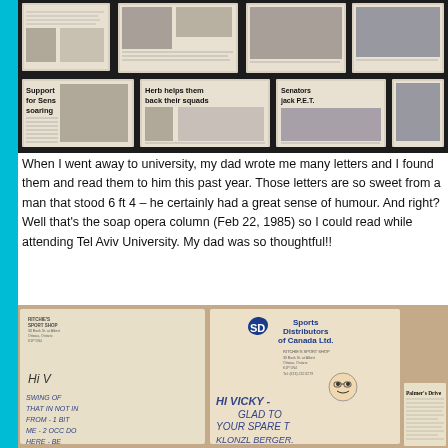[Figure (photo): A collage of newspaper clippings on a dark background. Headlines visible include 'Support for Sens soaring', 'Herb helps them back their squads', and 'Senators jack P.E.T.' with various sports photos.]
When I went away to university, my dad wrote me many letters and I found them and read them to him this past year. Those letters are so sweet from a man that stood 6 ft 4 – he certainly had a great sense of humour. And right? Well that's the soap opera column (Feb 22, 1985) so I could read while attending Tel Aviv University. My dad was so thoughtful!!
[Figure (photo): A letter written on Sports Distributors of Canada Ltd. / Ritchie's Sport Shop letterhead. Handwritten text includes 'Hi V', 'Hi Vicky - Glad to your spare time' and 'Klonzl Berger.' A newspaper clipping for 'Palmer's Drive' is also visible.]